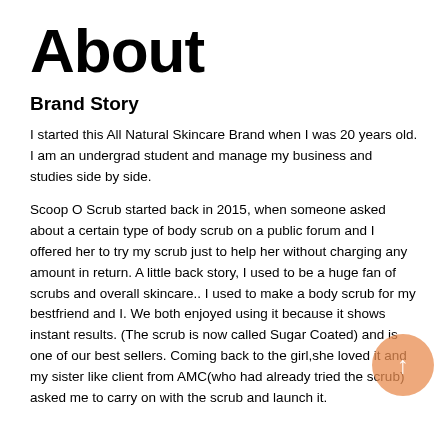About
Brand Story
I started this All Natural Skincare Brand when I was 20 years old. I am an undergrad student and manage my business and studies side by side.
Scoop O Scrub started back in 2015, when someone asked about a certain type of body scrub on a public forum and I offered her to try my scrub just to help her without charging any amount in return. A little back story, I used to be a huge fan of scrubs and overall skincare.. I used to make a body scrub for my bestfriend and I. We both enjoyed using it because it shows instant results. (The scrub is now called Sugar Coated) and is one of our best sellers. Coming back to the girl,she loved it and my sister like client from AMC(who had already tried the scrub)    asked me to carry on with the scrub and launch it.